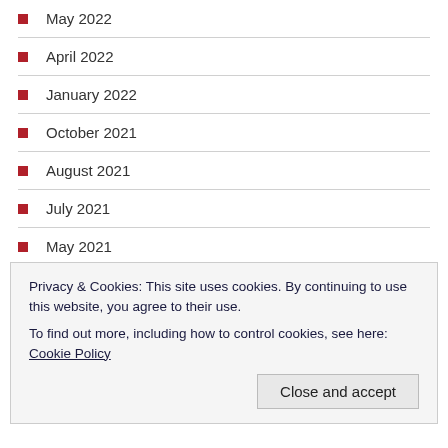May 2022
April 2022
January 2022
October 2021
August 2021
July 2021
May 2021
January 2021
December 2020
September 2020
July 2020
Privacy & Cookies: This site uses cookies. By continuing to use this website, you agree to their use. To find out more, including how to control cookies, see here: Cookie Policy
Close and accept